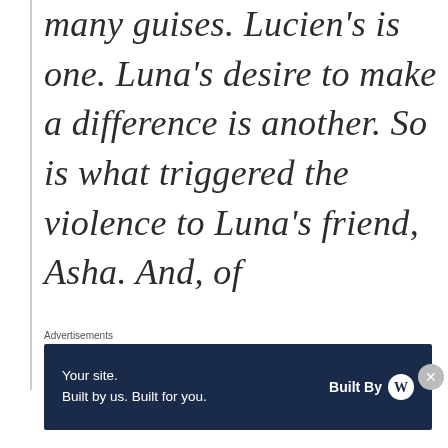many guises. Lucien's is one. Luna's desire to make a difference is another. So is what triggered the violence to Luna's friend, Asha. And, of
Advertisements
[Figure (other): Advertisement banner with dark navy background. Left side reads 'Your site. Built by us. Built for you.' Right side reads 'Built By' with a WordPress logo circle icon.]